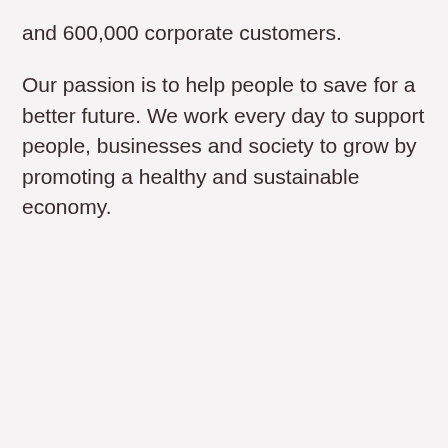and 600,000 corporate customers.
Our passion is to help people to save for a better future. We work every day to support people, businesses and society to grow by promoting a healthy and sustainable economy.